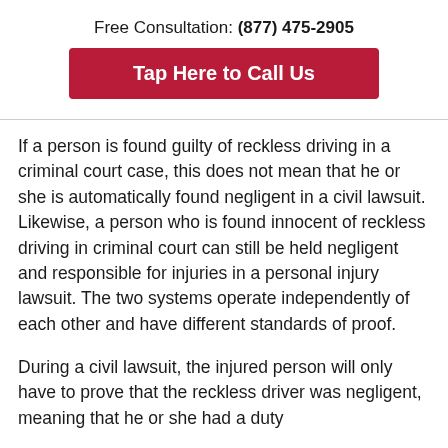Free Consultation: (877) 475-2905
Tap Here to Call Us
If a person is found guilty of reckless driving in a criminal court case, this does not mean that he or she is automatically found negligent in a civil lawsuit. Likewise, a person who is found innocent of reckless driving in criminal court can still be held negligent and responsible for injuries in a personal injury lawsuit. The two systems operate independently of each other and have different standards of proof.
During a civil lawsuit, the injured person will only have to prove that the reckless driver was negligent, meaning that he or she had a duty...